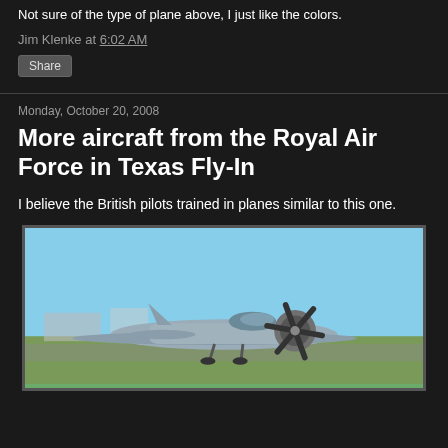Not sure of the type of plane above, I just like the colors.
Jim Klenke at 6:02 AM
Share
Monday, October 20, 2008
More aircraft from the Royal Air Force in Texas Fly-In
I believe the British pilots trained in planes similar to this one.
[Figure (photo): A vintage military training aircraft (likely WWII-era) photographed at an airshow on a sunny day with blue sky background. The plane has a large radial engine with a visible propeller and is painted in a grey/blue color scheme.]